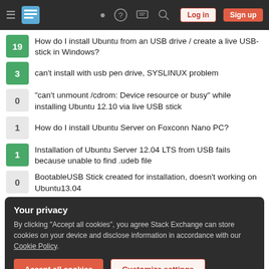Stack Exchange navigation bar with hamburger menu, logo, help, chat, search icons, Log in and Sign up buttons
19 — How do I install Ubuntu from an USB drive / create a live USB-stick in Windows?
3 — can't install with usb pen drive, SYSLINUX problem
0 — "can't unmount /cdrom: Device resource or busy" while installing Ubuntu 12.10 via live USB stick
1 — How do I install Ubuntu Server on Foxconn Nano PC?
1 — Installation of Ubuntu Server 12.04 LTS from USB fails because unable to find .udeb file
0 — BootableUSB Stick created for installation, doesn't working on Ubuntu13.04
Your privacy
By clicking "Accept all cookies", you agree Stack Exchange can store cookies on your device and disclose information in accordance with our Cookie Policy.
Accept all cookies  Customize settings
Hot Network Questions